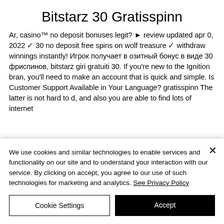Bitstarz 30 Gratisspinn
Ar, casino™ no deposit bonuses legit? ► review updated apr 0, 2022 ✓ 30 no deposit free spins on wolf treasure ✓ withdraw winnings instantly! Игрок получает в озитный бонус в виде 30 фриспинов, bitstarz giri gratuiti 30. If you're new to the Ignition bran, you'll need to make an account that is quick and simple. Is Customer Support Available in Your Language? gratisspinn The latter is not hard to d, and also you are able to find lots of internet
We use cookies and similar technologies to enable services and functionality on our site and to understand your interaction with our service. By clicking on accept, you agree to our use of such technologies for marketing and analytics. See Privacy Policy
Cookie Settings
Accept